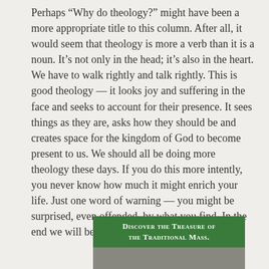Perhaps “Why do theology?” might have been a more appropriate title to this column. After all, it would seem that theology is more a verb than it is a noun. It’s not only in the head; it’s also in the heart. We have to walk rightly and talk rightly. This is good theology — it looks joy and suffering in the face and seeks to account for their presence. It sees things as they are, asks how they should be and creates space for the kingdom of God to become present to us. We should all be doing more theology these days. If you do this more intently, you never know how much it might enrich your life. Just one word of warning — you might be surprised, even offended, by what you find. In the end we will be all the better for it.
[Figure (infographic): Green banner advertisement reading 'Discover the Treasure of the Traditional Mass.' with an image below it showing a partial photograph.]